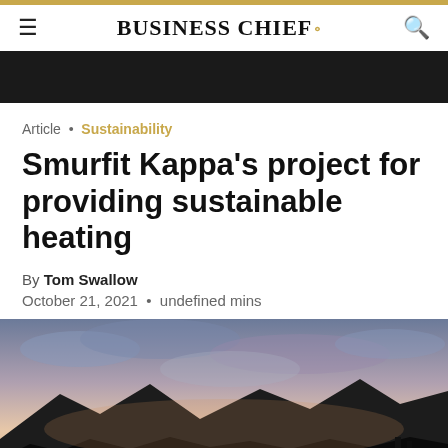BUSINESS CHIEF
Article • Sustainability
Smurfit Kappa's project for providing sustainable heating
By Tom Swallow
October 21, 2021 • undefined mins
[Figure (photo): Dusk landscape photo showing industrial silhouette against a pastel sunset sky with mountains and clouds in the background.]